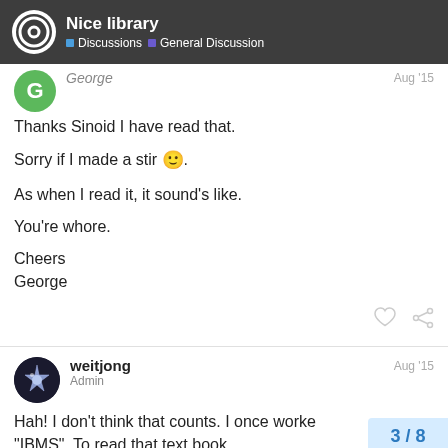Nice library | Discussions | General Discussion
George  Aug '15
Thanks Sinoid I have read that.

Sorry if I made a stir 🙂.

As when I read it, it sound's like.

You're whore.

Cheers
George
weitjong  Admin  Aug '15
Hah! I don't think that counts. I once worke
"IBMS". To read that text book...
3 / 8